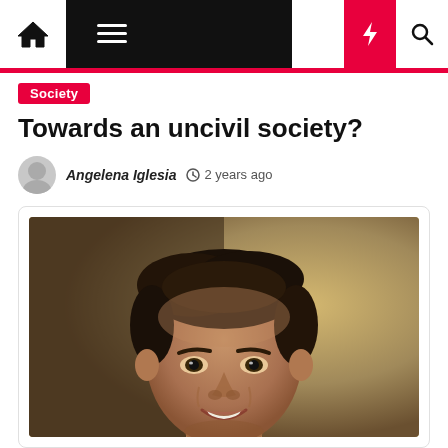Navigation bar with home, menu, moon, bolt, and search icons
Society
Towards an uncivil society?
Angelena Iglesia  2 years ago
[Figure (photo): Portrait photo of a smiling man with dark hair, in a rounded card container]